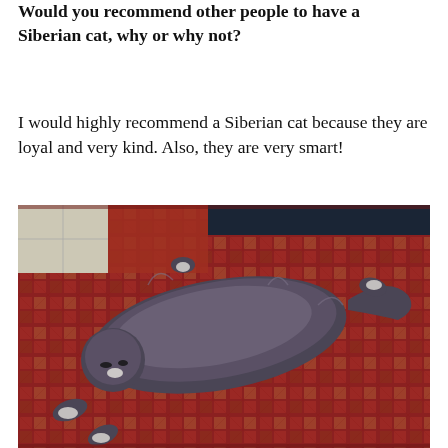Would you recommend other people to have a Siberian cat, why or why not?
I would highly recommend a Siberian cat because they are loyal and very kind. Also, they are very smart!
[Figure (photo): A long-haired dark grey Siberian cat lying stretched out on a colorful red and orange patterned rug, photographed from above. The cat appears relaxed and sprawled out. A tiled floor is visible in the upper left corner and dark furniture in the upper right.]